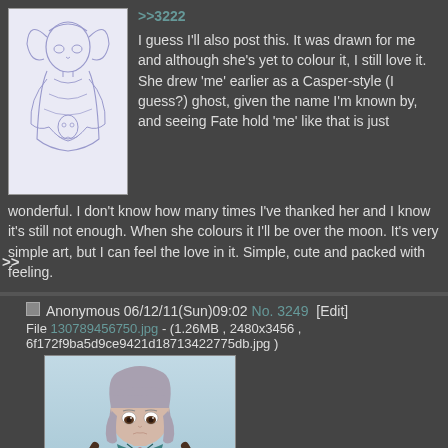>>3222
[Figure (illustration): Pencil sketch of an anime girl with twin tails holding a small ghost figure]
I guess I'll also post this. It was drawn for me and although she's yet to colour it, I still love it. She drew 'me' earlier as a Casper-style (I guess?) ghost, given the name I'm known by, and seeing Fate hold 'me' like that is just wonderful. I don't know how many times I've thanked her and I know it's still not enough. When she colours it I'll be over the moon. It's very simple art, but I can feel the love in it. Simple, cute and packed with feeling.
Anonymous 06/12/11(Sun)09:02 No. 3249 [Edit]
File 130789456750.jpg - (1.26MB , 2480x3456 , 6f172f9ba5d9ce9421d18713422775db.jpg )
[Figure (illustration): Colored anime illustration of a grey-haired girl in a school uniform with blue and brown tones, looking downward with a sad expression]